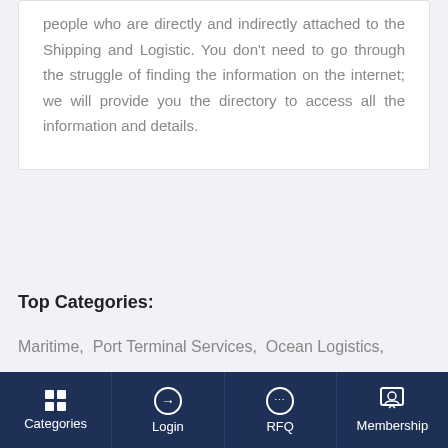people who are directly and indirectly attached to the Shipping and Logistic. You don't need to go through the struggle of finding the information on the internet; we will provide you the directory to access all the information and details.
Top Categories:
Maritime,  Port Terminal Services,  Ocean Logistics,  Air Logistics,  Land Logistics,  Freight Forwarders,
Categories | Login | RFQ | Membership